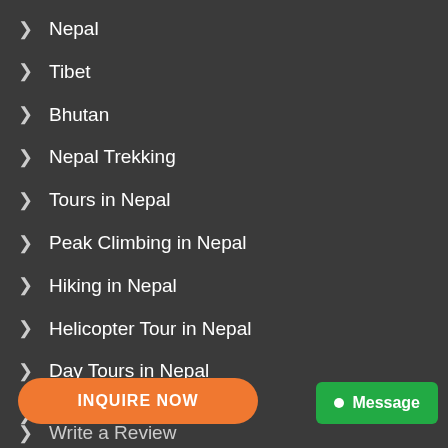Nepal
Tibet
Bhutan
Nepal Trekking
Tours in Nepal
Peak Climbing in Nepal
Hiking in Nepal
Helicopter Tour in Nepal
Day Tours in Nepal
Company Info
Travel Advice
INQUIRE NOW
Message
Write a Review